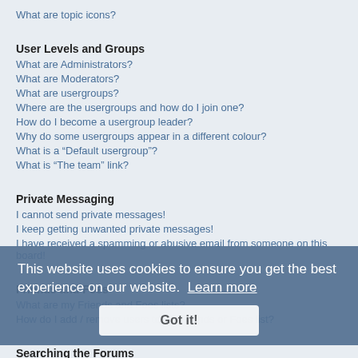What are topic icons?
User Levels and Groups
What are Administrators?
What are Moderators?
What are usergroups?
Where are the usergroups and how do I join one?
How do I become a usergroup leader?
Why do some usergroups appear in a different colour?
What is a “Default usergroup”?
What is “The team” link?
Private Messaging
I cannot send private messages!
I keep getting unwanted private messages!
I have received a spamming or abusive email from someone on this board!
Friends and Foes
What are my Friends and Foes lists?
How do I add / remove users to my Friends or Foes list?
Searching the Forums
How can I search a forum or forums?
Why does my search return no results?
Why does my search return a blank page!?
How do I search for members?
How can I find my own posts and topics?
This website uses cookies to ensure you get the best experience on our website. Learn more
Got it!